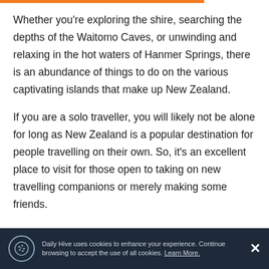Whether you're exploring the shire, searching the depths of the Waitomo Caves, or unwinding and relaxing in the hot waters of Hanmer Springs, there is an abundance of things to do on the various captivating islands that make up New Zealand.
If you are a solo traveller, you will likely not be alone for long as New Zealand is a popular destination for people travelling on their own. So, it's an excellent place to visit for those open to taking on new travelling companions or merely making some friends.
It is a scene that the successful file is...
Daily Hive uses cookies to enhance your experience. Continue browsing to accept the use of all cookies. Learn More.